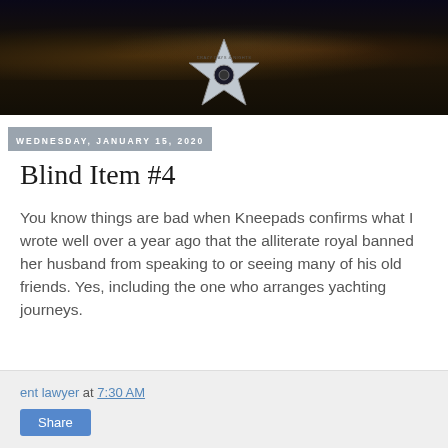[Figure (illustration): Website header banner showing a nighttime city skyline with a Hollywood Walk of Fame style star logo in the center, text reads CRAZY DAYS & NIGHTS]
WEDNESDAY, JANUARY 15, 2020
Blind Item #4
You know things are bad when Kneepads confirms what I wrote well over a year ago that the alliterate royal banned her husband from speaking to or seeing many of his old friends. Yes, including the one who arranges yachting journeys.
ent lawyer at 7:30 AM
Share